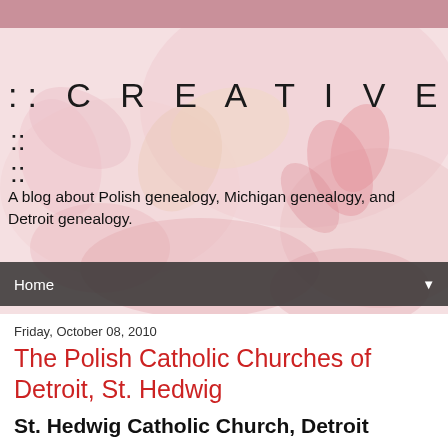[Figure (illustration): Floral watercolor background image with pinks, reds, and yellows behind the site header area]
:: C R E A T I V E G E N E
::
::
A blog about Polish genealogy, Michigan genealogy, and Detroit genealogy.
Home
Friday, October 08, 2010
The Polish Catholic Churches of Detroit, St. Hedwig
St. Hedwig Catholic Church, Detroit